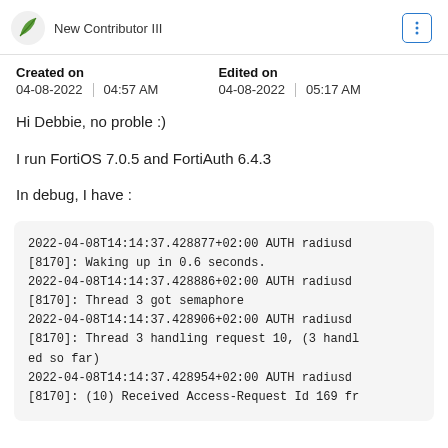New Contributor III
Created on
04-08-2022  04:57 AM

Edited on
04-08-2022  05:17 AM
Hi Debbie, no proble :)
I run FortiOS 7.0.5 and FortiAuth 6.4.3
In debug, I have :
2022-04-08T14:14:37.428877+02:00 AUTH radiusd [8170]: Waking up in 0.6 seconds.
2022-04-08T14:14:37.428886+02:00 AUTH radiusd [8170]: Thread 3 got semaphore
2022-04-08T14:14:37.428906+02:00 AUTH radiusd [8170]: Thread 3 handling request 10, (3 handled so far)
2022-04-08T14:14:37.428954+02:00 AUTH radiusd [8170]: (10) Received Access-Request Id 169 fr